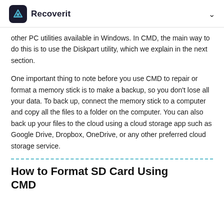Recoverit
other PC utilities available in Windows. In CMD, the main way to do this is to use the Diskpart utility, which we explain in the next section.
One important thing to note before you use CMD to repair or format a memory stick is to make a backup, so you don't lose all your data. To back up, connect the memory stick to a computer and copy all the files to a folder on the computer. You can also back up your files to the cloud using a cloud storage app such as Google Drive, Dropbox, OneDrive, or any other preferred cloud storage service.
How to Format SD Card Using CMD